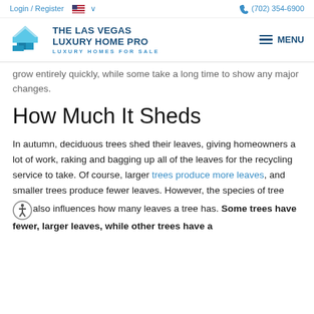Login / Register    (702) 354-6900
[Figure (logo): The Las Vegas Luxury Home Pro logo with blue house icon and text 'THE LAS VEGAS LUXURY HOME PRO - LUXURY HOMES FOR SALE', plus MENU navigation button]
grow entirely quickly, while some take a long time to show any major changes.
How Much It Sheds
In autumn, deciduous trees shed their leaves, giving homeowners a lot of work, raking and bagging up all of the leaves for the recycling service to take. Of course, larger trees produce more leaves, and smaller trees produce fewer leaves. However, the species of tree also influences how many leaves a tree has. Some trees have fewer, larger leaves, while other trees have a